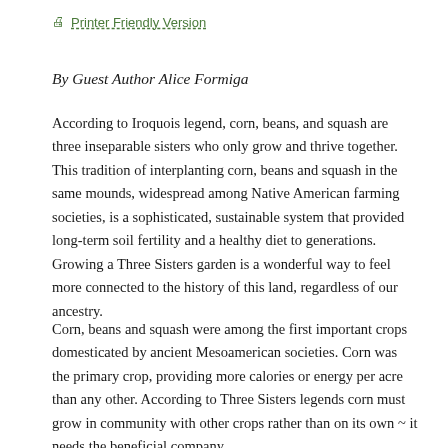Printer Friendly Version
By Guest Author Alice Formiga
According to Iroquois legend, corn, beans, and squash are three inseparable sisters who only grow and thrive together. This tradition of interplanting corn, beans and squash in the same mounds, widespread among Native American farming societies, is a sophisticated, sustainable system that provided long-term soil fertility and a healthy diet to generations. Growing a Three Sisters garden is a wonderful way to feel more connected to the history of this land, regardless of our ancestry.
Corn, beans and squash were among the first important crops domesticated by ancient Mesoamerican societies. Corn was the primary crop, providing more calories or energy per acre than any other. According to Three Sisters legends corn must grow in community with other crops rather than on its own ~ it needs the beneficial company